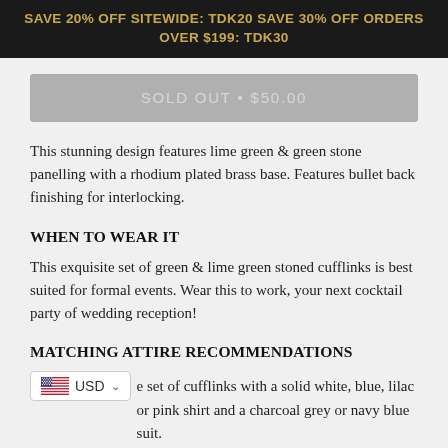SAVE 20% OFF SITEWIDE: TDK20 SAVE 30% OFF ORDERS OVER $199: TDK30
SOLD OUT • $50.00
This stunning design features lime green & green stone panelling with a rhodium plated brass base. Features bullet back finishing for interlocking.
WHEN TO WEAR IT
This exquisite set of green & lime green stoned cufflinks is best suited for formal events. Wear this to work, your next cocktail party of wedding reception!
MATCHING ATTIRE RECOMMENDATIONS
USD
e set of cufflinks with a solid white, blue, lilac or pink shirt and a charcoal grey or navy blue suit.